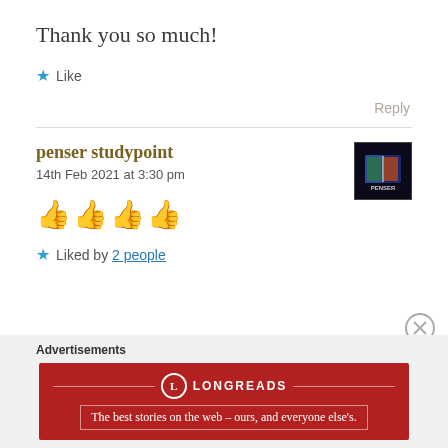Thank you so much!
★ Like
Reply
penser studypoint
14th Feb 2021 at 3:30 pm
[Figure (illustration): Four thumbs up emoji in yellow/orange color]
★ Liked by 2 people
[Figure (logo): Penser studypoint avatar - dark background with green/orange book logo and PENSER text]
Advertisements
[Figure (other): Longreads advertisement banner - dark red background with Longreads logo and tagline: The best stories on the web – ours, and everyone else's.]